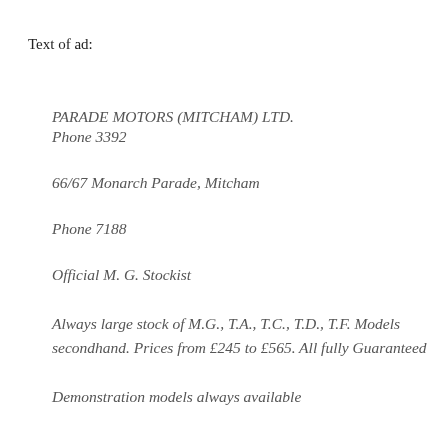Text of ad:
PARADE MOTORS (MITCHAM) LTD.
Phone 3392
66/67 Monarch Parade, Mitcham
Phone 7188
Official M. G. Stockist
Always large stock of M.G., T.A., T.C., T.D., T.F. Models secondhand. Prices from £245 to £565. All fully Guaranteed
Demonstration models always available